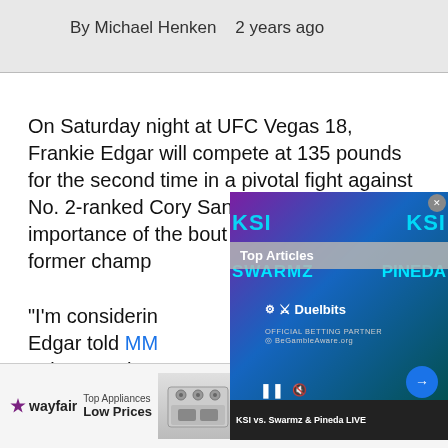By Michael Henken   2 years ago
On Saturday night at UFC Vegas 18, Frankie Edgar will compete at 135 pounds for the second time in a pivotal fight against No. 2-ranked Cory Sandhagen, and the importance of the bout isn't lost on the former champ
“I’m considering Edgar told MM string togethe
[Figure (screenshot): Video overlay widget showing KSI vs Swarmz & Pineda LIVE boxing event advertisement with Duelbits betting partner branding, Top Articles label, pause and mute controls, and arrow navigation button]
[Figure (screenshot): Wayfair advertisement banner: Top Appliances Low Prices, featuring an image of a stove/range, with text 'Save on best selling brands that live up to the hype' and a purple 'Shop now' button]